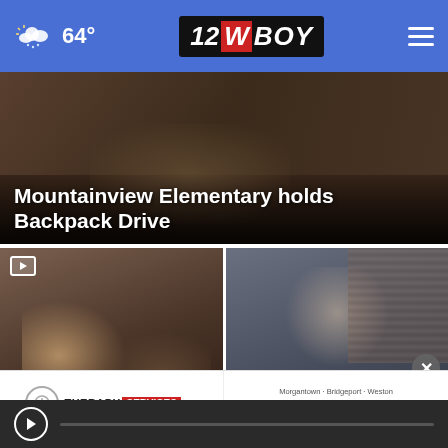64° | 12 WBOY
[Figure (screenshot): Hero image with dark background (hands/backpack scene), overlaid with headline text]
Mountainview Elementary holds Backpack Drive
[Figure (screenshot): Thumbnail image of tattoo expo scene (person getting a tattoo)]
Annual West Virginia Tattoo Expo returns to Morgantown
[Figure (screenshot): Thumbnail image of AG Morrisey speaking at a podium with law books in background]
AG Morrisey warns about fake lette scam
Morgantown · Bridgeport · Weston | 304-599-2600 | Physical Therapy
Therapy Services LLC | Therapy Services Autism Center